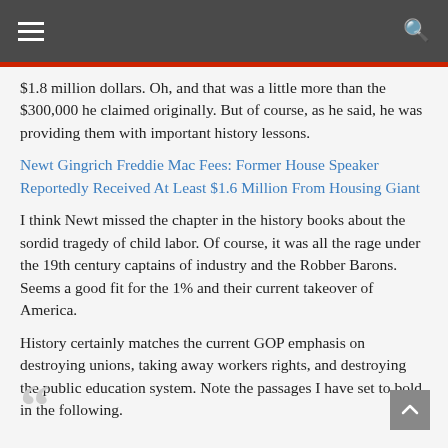Navigation bar with hamburger menu and search icon
$1.8 million dollars. Oh, and that was a little more than the $300,000 he claimed originally. But of course, as he said, he was providing them with important history lessons.
Newt Gingrich Freddie Mac Fees: Former House Speaker Reportedly Received At Least $1.6 Million From Housing Giant
I think Newt missed the chapter in the history books about the sordid tragedy of child labor. Of course, it was all the rage under the 19th century captains of industry and the Robber Barons. Seems a good fit for the 1% and their current takeover of America.
History certainly matches the current GOP emphasis on destroying unions, taking away workers rights, and destroying the public education system. Note the passages I have set to bold in the following.